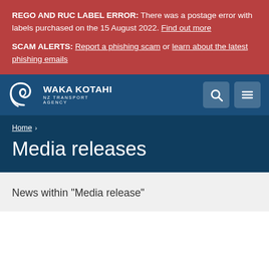REGO AND RUC LABEL ERROR: There was a postage error with labels purchased on the 15 August 2022. Find out more
SCAM ALERTS: Report a phishing scam or learn about the latest phishing emails
[Figure (logo): Waka Kotahi NZ Transport Agency logo — white koru/wave symbol with text WAKA KOTAHI and NZ TRANSPORT AGENCY on dark blue background]
Home › Media releases
Media releases
News within "Media release"